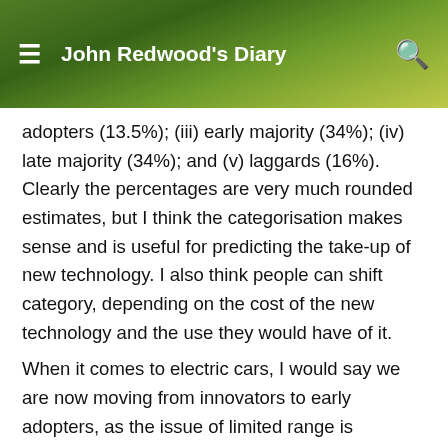John Redwood's Diary
adopters (13.5%); (iii) early majority (34%); (iv) late majority (34%); and (v) laggards (16%). Clearly the percentages are very much rounded estimates, but I think the categorisation makes sense and is useful for predicting the take-up of new technology. I also think people can shift category, depending on the cost of the new technology and the use they would have of it.
When it comes to electric cars, I would say we are now moving from innovators to early adopters, as the issue of limited range is diminishing (though it definitely still exists). Given the cost, however, and the fact that improvements are being made very rapidly, it doesn't make sense to me to buy one now and then see much better models appear in a couple of years' time. That is why, last month, I bought myself a brand new petrol car. I intend to keep this until late in the decade, when I am